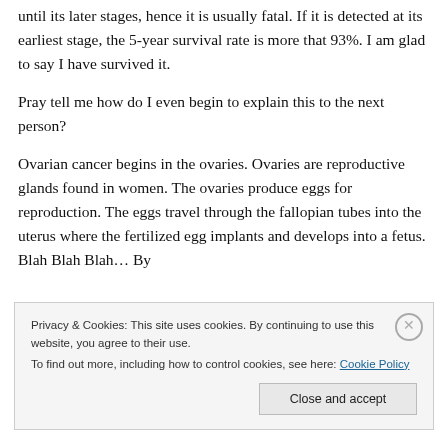until its later stages, hence it is usually fatal. If it is detected at its earliest stage, the 5-year survival rate is more that 93%. I am glad to say I have survived it.
Pray tell me how do I even begin to explain this to the next person?
Ovarian cancer begins in the ovaries. Ovaries are reproductive glands found in women. The ovaries produce eggs for reproduction. The eggs travel through the fallopian tubes into the uterus where the fertilized egg implants and develops into a fetus. Blah Blah Blah… By
Privacy & Cookies: This site uses cookies. By continuing to use this website, you agree to their use.
To find out more, including how to control cookies, see here: Cookie Policy